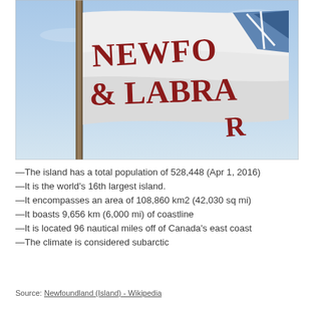[Figure (photo): Photograph of a white flag with dark red text reading 'NEWFOUNDLAND & LABRADOR' flying on a pole against a blue sky. The flag also shows a partial blue geometric emblem in the upper corner.]
—The island has a total population of 528,448 (Apr 1, 2016)
—It is the world's 16th largest island.
—It encompasses an area of 108,860 km2 (42,030 sq mi)
—It boasts 9,656 km (6,000 mi) of coastline
—It is located 96 nautical miles off of Canada's east coast
—The climate is considered subarctic
Source: Newfoundland (Island) - Wikipedia